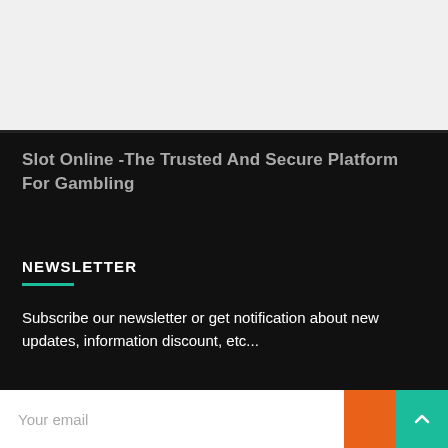[Figure (other): Light gray placeholder image area at the top of the page]
Slot Online -The Trusted And Secure Platform For Gambling
NEWSLETTER
Subscribe our newsletter or get notification about new updates, information discount, etc...
Your email